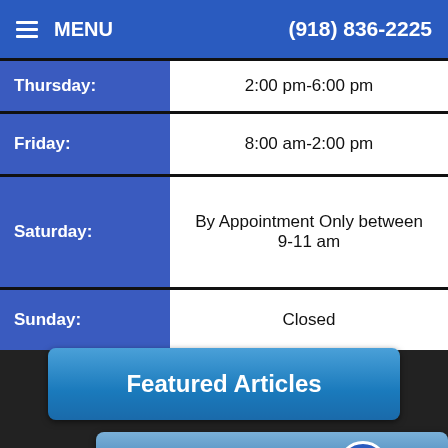MENU  (918) 836-2225
| Day | Hours |
| --- | --- |
| Thursday: | 2:00 pm-6:00 pm |
| Friday: | 8:00 am-2:00 pm |
| Saturday: | By Appointment Only between 9-11 am |
| Sunday: | Closed |
Featured Articles
Testimonials